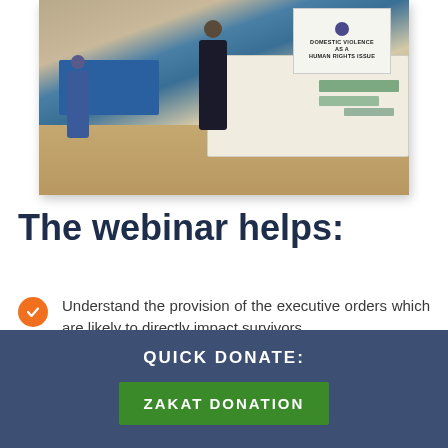[Figure (photo): Indoor community event or resource fair with people standing near tables covered with blue and white tablecloths. A sign in the background reads 'DOMESTIC VIOLENCE AS A HUMAN RIGHTS ISSUE'. Brochures and materials are visible on the tables.]
The webinar helps:
Understand the provision of the executive orders which are likely to directly impact survivors
Identify key ways to protect your clients and engage in community advocacy to protect
QUICK DONATE:
ZAKAT DONATION